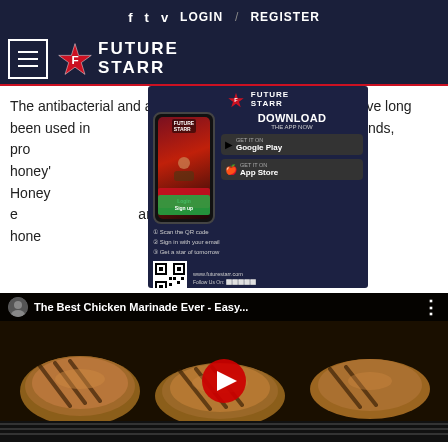f  t  v  LOGIN  /  REGISTER
[Figure (logo): Future Starr logo with hamburger menu icon on dark navy background]
The antibacterial and antimicrobial properties of honey have long been used in [ad overlay] e found that it can treat wounds, pro[ad overlay] pathogens. Moreover, honey'[ad overlay] benefits in treating infections. Honey [ad overlay] of your oral cavity, and may e[ad overlay] antibacterial properties of hone[ad overlay] the benefits of honey.
[Figure (screenshot): Future Starr app download advertisement overlay showing phone mockup, Download the App Now heading, Google Play and App Store buttons, QR code scan steps, QR code, www.futurestarr.com URL, and Follow Us On social icons]
[Figure (screenshot): YouTube video thumbnail showing 'The Best Chicken Marinade Ever - Easy...' with grilled chicken image and red play button, user avatar top-left, three-dot menu top-right]